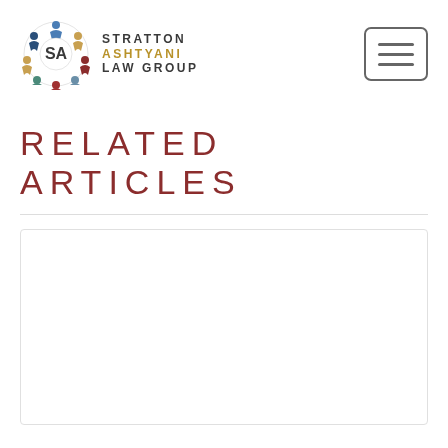[Figure (logo): Stratton Ashtyani Law Group logo with circular icon and text]
RELATED ARTICLES
[Figure (other): White article card placeholder with light border]